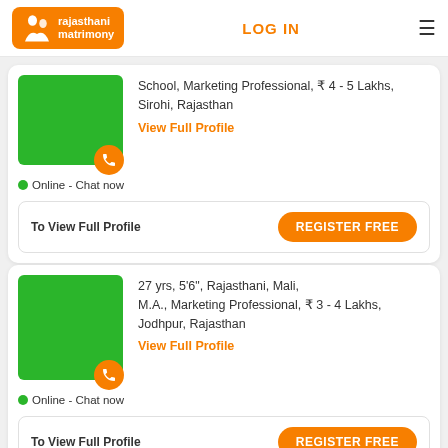rajasthani matrimony | LOG IN
School, Marketing Professional, ₹ 4 - 5 Lakhs, Sirohi, Rajasthan
View Full Profile
Online - Chat now
To View Full Profile
REGISTER FREE
27 yrs, 5'6", Rajasthani, Mali, M.A., Marketing Professional, ₹ 3 - 4 Lakhs, Jodhpur, Rajasthan
View Full Profile
Online - Chat now
To View Full Profile
REGISTER FREE